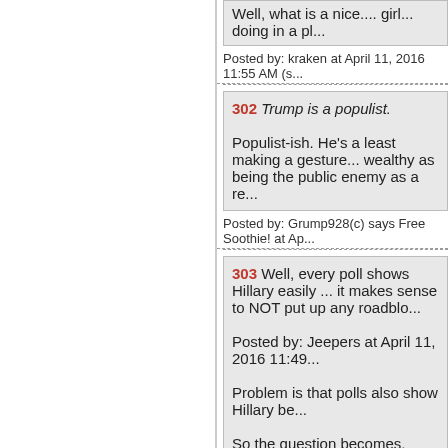Well, what is a nice.... girl... doing in a pl...
Posted by: kraken at April 11, 2016 11:55 AM (s...
302 Trump is a populist.

Populist-ish. He's a least making a gesture... wealthy as being the public enemy as a re...
Posted by: Grump928(c) says Free Soothie! at Ap...
303 Well, every poll shows Hillary easily ... it makes sense to NOT put up any roadblo...

Posted by: Jeepers at April 11, 2016 11:49...

Problem is that polls also show Hillary be...

So the question becomes, once the fight R... faster...
Posted by: Don Quixote at April 11, 2016 11:55 A...